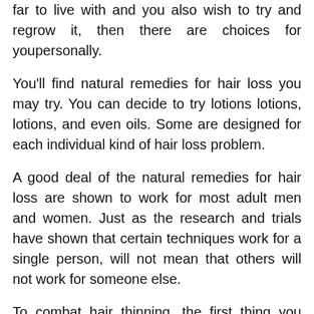far to live with and you also wish to try and regrow it, then there are choices for youpersonally.
You'll find natural remedies for hair loss you may try. You can decide to try lotions lotions, lotions, and even oils. Some are designed for each individual kind of hair loss problem.
A good deal of the natural remedies for hair loss are shown to work for most adult men and women. Just as the research and trials have shown that certain techniques work for a single person, will not mean that others will not work for someone else.
To combat hair thinning, the first thing you should do is realize you have problems. It could be something as simple as too much as serious